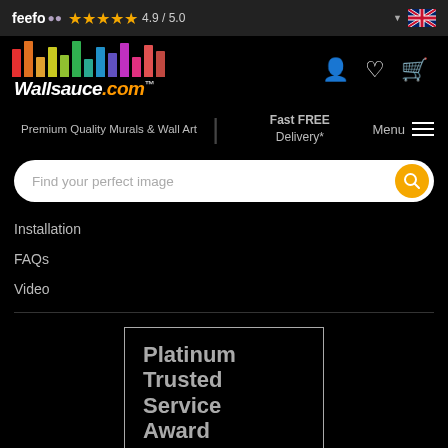feefo ★★★★★ 4.9 / 5.0
[Figure (logo): Wallsauce.com logo with colorful vertical bars]
Premium Quality Murals & Wall Art | Fast FREE Delivery* Menu
Find your perfect image
Installation
FAQs
Video
[Figure (other): Platinum Trusted Service Award badge — For consistently...]